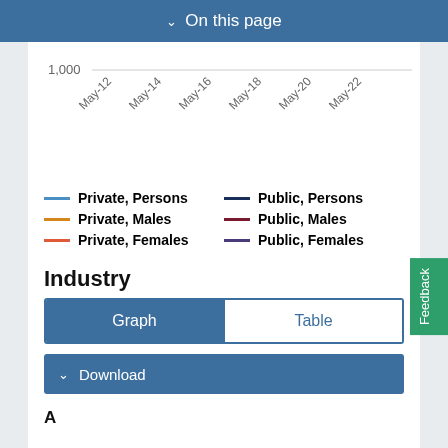On this page
[Figure (line-chart): Partial line chart showing x-axis with dates May-12, May-14, May-16, May-18, May-20, May-22 and y-axis value of 1,000. Chart is cropped at top.]
Private, Persons | Public, Persons | Private, Males | Public, Males | Private, Females | Public, Females
Industry
Graph | Table
Download
A